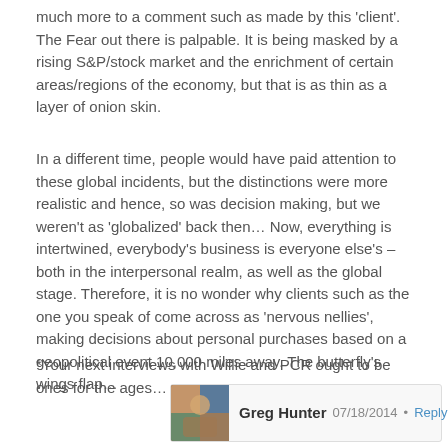much more to a comment such as made by this 'client'. The Fear out there is palpable. It is being masked by a rising S&P/stock market and the enrichment of certain areas/regions of the economy, but that is as thin as a layer of onion skin.
In a different time, people would have paid attention to these global incidents, but the distinctions were more realistic and hence, so was decision making, but we weren't as 'globalized' back then… Now, everything is intertwined, everybody's business is everyone else's – both in the interpersonal realm, as well as the global stage. Therefore, it is no wonder why clients such as the one you speak of come across as 'nervous nellies', making decisions about personal purchases based on a geopolitical event 10,000 miles away. The butterfly's wings flap…
*Your next interviews with Willie and PCR ought to be ones for the ages…
Greg Hunter   07/18/2014 • Reply